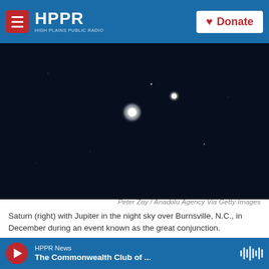HPPR HIGH PLAINS PUBLIC RADIO | Donate
[Figure (photo): Night sky photograph showing Saturn (right) and Jupiter as bright glowing orbs against a very dark navy/black sky, taken over Burnsville, N.C.]
Peter Zay / Anadolu Agency Via Getty Images
Saturn (right) with Jupiter in the night sky over Burnsville, N.C., in December during an event known as the great conjunction.
Now might be the time to wipe the dust off that pair of binoculars and extract the family telescope from
HPPR News
The Commonwealth Club of ...